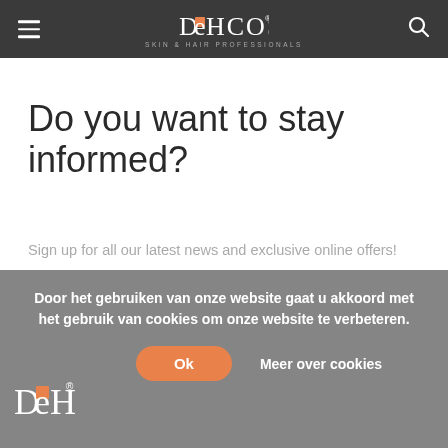DEHCOS SKIN & HAIR PROFESSIONALS
Do you want to stay informed?
Sign up for all our latest news and exclusive online offers!
E-mail address [SEND button]
Door het gebruiken van onze website gaat u akkoord met het gebruik van cookies om onze website te verbeteren.
Ok  Meer over cookies